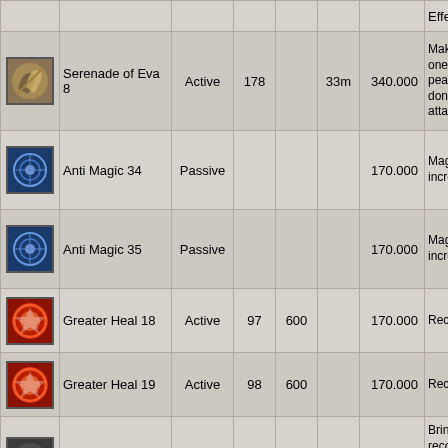| Icon | Name | Type | MP | Cast | Range | Exp | Effect |
| --- | --- | --- | --- | --- | --- | --- | --- |
|  |  |  |  |  |  |  | Effe... |
| [icon] | Serenade of Eva 8 | Active | 178 |  | 33m | 340.000 | Make minds one's enem peace that t don't any u attac... |
| [icon] | Anti Magic 34 | Passive |  |  |  | 170.000 | Magi resist incre... |
| [icon] | Anti Magic 35 | Passive |  |  |  | 170.000 | Magi resist incre... |
| [icon] | Greater Heal 18 | Active | 97 | 600 |  | 170.000 | Reco targe... |
| [icon] | Greater Heal 19 | Active | 98 | 600 |  | 170.000 | Reco targe... |
| [icon] | Resurrection ... |  |  |  |  |  | Bring dead recov 55%... |